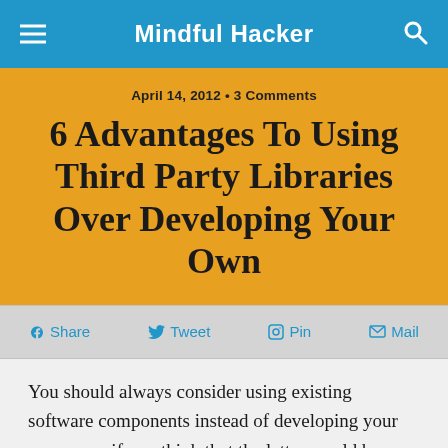Mindful Hacker
April 14, 2012 • 3 Comments
6 Advantages To Using Third Party Libraries Over Developing Your Own
f Share   🐦 Tweet   Pin   ✉ Mail
You should always consider using existing software components instead of developing your own; even if you think that the latter would be much better. Here are 6 reasons why working with third party projects (open source or commercial) is usually a better choice: